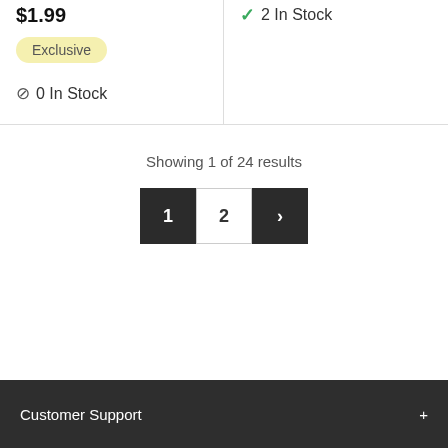$1.99
Exclusive
0 In Stock
2 In Stock
Showing 1 of 24 results
1  2  >
Customer Support  +